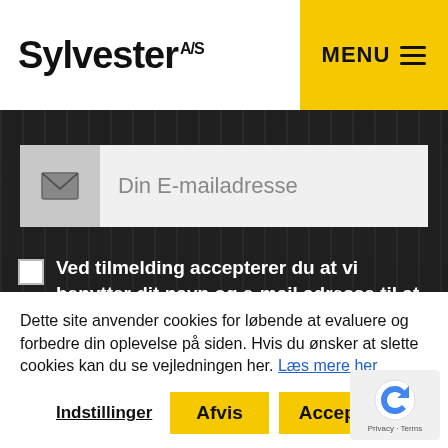Sylvester A/S
MENU
[Figure (screenshot): Email input field with envelope icon and placeholder text 'Din E-mailadresse']
Ved tilmelding accepterer du at vi benytter dit navn og e-mail adresse til at sende nyhedsbreve til dig. Dine oplysninger bliver gemt men du kan til enhver tid afmelde nyhedsbrevet. Du kan læse vores privatlivspolitik for mere information.
Dette site anvender cookies for løbende at evaluere og forbedre din oplevelse på siden. Hvis du ønsker at slette cookies kan du se vejledningen her. Læs mere her
Indstillinger  Afvis  Acceptér